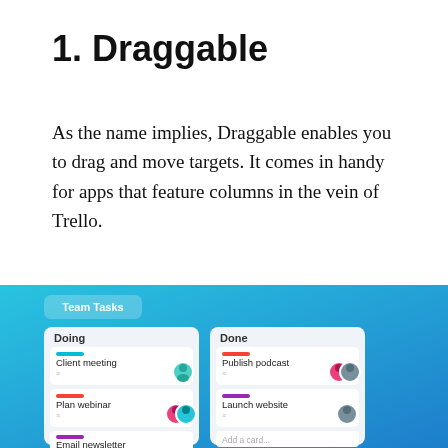1. Draggable
As the name implies, Draggable enables you to drag and move targets. It comes in handy for apps that feature columns in the vein of Trello.
[Figure (screenshot): Screenshot of a Trello-like 'Team Tasks' kanban board app with two columns: 'Doing' (containing cards: Client meeting, Plan webinar, Email newsletter) and 'Done' (containing cards: Publish podcast, Launch website, Add a card...). The board has a blue gradient background with white rounded-corner column cards, each containing colored tag bars and avatar icons.]